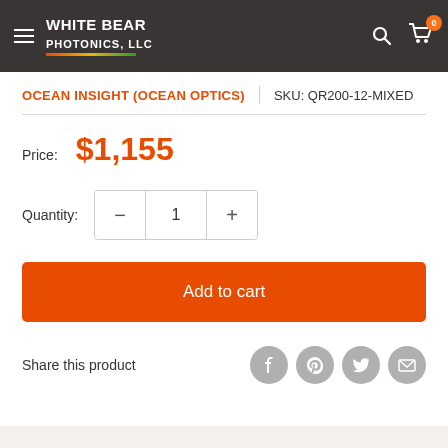WHITE BEAR PHOTONICS, LLC
OCEAN INSIGHT (OCEAN OPTICS)  |  SKU: QR200-12-MIXED
Price: $1,155
Quantity: 1
Add to cart
Share this product